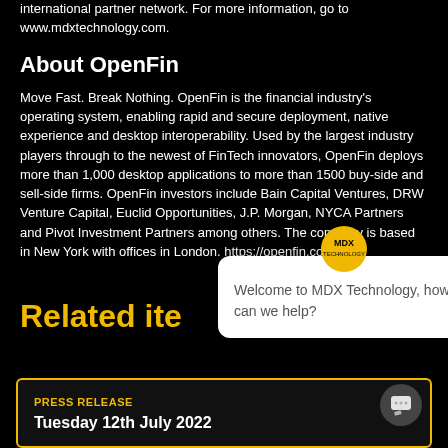international partner network. For more information, go to www.mdxtechnology.com.
About OpenFin
Move Fast. Break Nothing. OpenFin is the financial industry's operating system, enabling rapid and secure deployment, native experience and desktop interoperability. Used by the largest industry players through to the newest of FinTech innovators, OpenFin deploys more than 1,000 desktop applications to more than 1500 buy-side and sell-side firms. OpenFin investors include Bain Capital Ventures, DRW Venture Capital, Euclid Opportunities, J.P. Morgan, NYCA Partners and Pivot Investment Partners among others. The company is based in New York with offices in London. https://openfin.co
Related ite
[Figure (screenshot): MDX Technology chat widget popup showing logo and welcome message: 'Welcome to MDX Technology, how can we help?']
PRESS RELEASE
Tuesday 12th July 2022